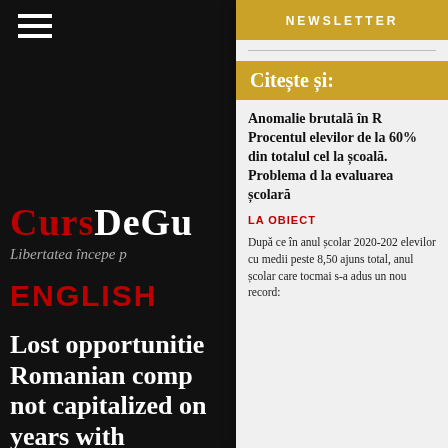[Figure (screenshot): Hamburger menu icon (three white horizontal lines) on black background]
NEWSLETTER
CursDeGu
Libertatea începe p
ENGLISH
Citește și:
Lost opportunitie Romanian comp not capitalized on years with
Anomalie brutală în R Procentul elevilor de la 60% din totalul cel la școală. Problema d la evaluarea școlară
LA OBIECT
După ce în anul școlar 2020-202 elevilor cu medii peste 8,50 ajuns total, anul școlar care tocmai s-a adus un nou record: